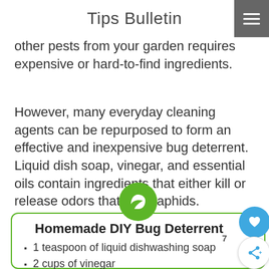Tips Bulletin
other pests from your garden requires expensive or hard-to-find ingredients.
However, many everyday cleaning agents can be repurposed to form an effective and inexpensive bug deterrent. Liquid dish soap, vinegar, and essential oils contain ingredients that either kill or release odors that repel aphids.
Homemade DIY Bug Deterrent
1 teaspoon of liquid dishwashing soap
2 cups of vinegar